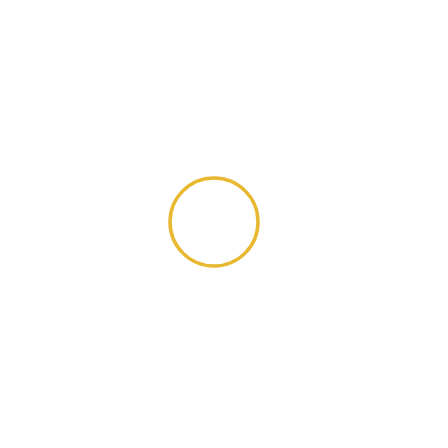[Figure (other): A simple circle outline drawn in golden/yellow color, centered slightly left of middle on an otherwise blank white page. The circle has a thin stroke and no fill.]